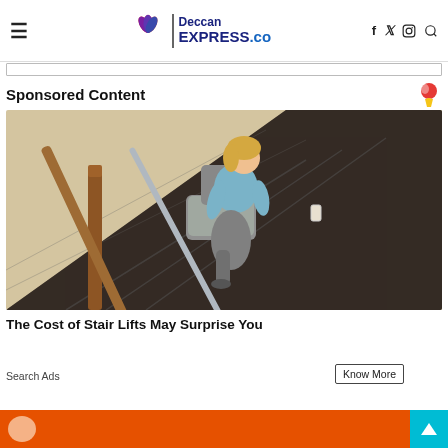Deccan EXPRESS.co
Sponsored Content
[Figure (photo): Woman sitting on a stair lift chair on a carpeted staircase with wooden banister, smiling at camera]
The Cost of Stair Lifts May Surprise You
Search Ads
Know More